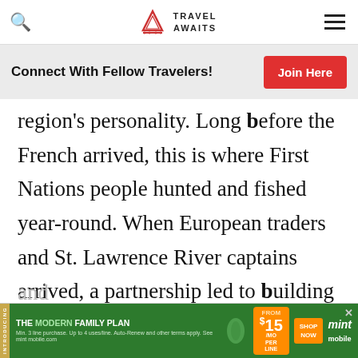Travel Awaits — navigation bar with search icon, logo, and menu
Connect With Fellow Travelers!
Join Here
region's personality. Long before the French arrived, this is where First Nations people hunted and fished year-round. When European traders and St. Lawrence River captains arrived, a partnership led to building booms and the emergence of villages and
[Figure (other): Mint Mobile advertisement banner — The Modern Family Plan, $15/mo per line, Shop Now]